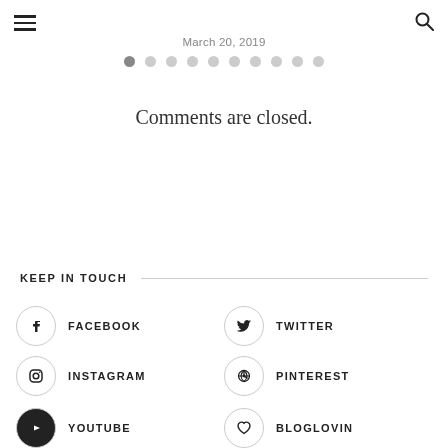menu / search icons
March 20, 2019
[Figure (other): Pagination dots row: 10 circles, first one filled/dark, rest empty]
Comments are closed.
KEEP IN TOUCH
FACEBOOK
TWITTER
INSTAGRAM
PINTEREST
YOUTUBE
BLOGLOVIN